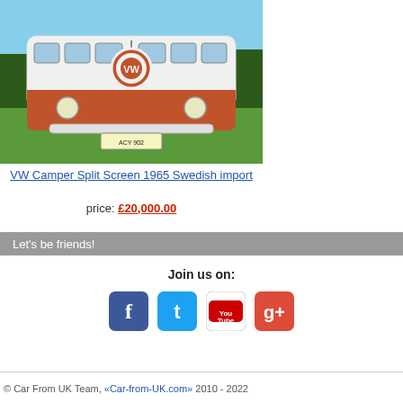[Figure (photo): Front view of a vintage orange and white VW Camper Split Screen van parked on grass with trees and blue sky in background. License plate reads ACY 902.]
VW Camper Split Screen 1965 Swedish import
price: £20,000.00
Let's be friends!
Join us on:
[Figure (logo): Social media icons: Facebook, Twitter, YouTube, Google+]
© Car From UK Team, «Car-from-UK.com» 2010 - 2022